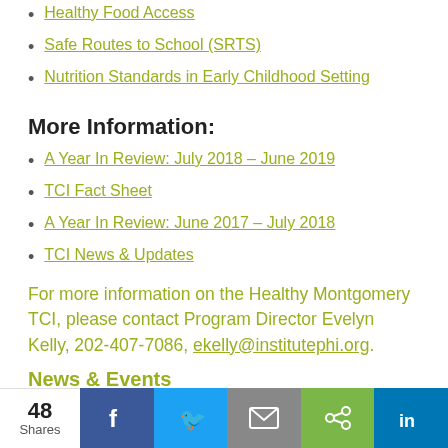Healthy Food Access
Safe Routes to School (SRTS)
Nutrition Standards in Early Childhood Setting
More Information:
A Year In Review: July 2018 – June 2019
TCI Fact Sheet
A Year In Review: June 2017 – July 2018
TCI News & Updates
For more information on the Healthy Montgomery TCI, please contact Program Director Evelyn Kelly, 202-407-7086, ekelly@institutephi.org.
News & Events
48 Shares | Facebook | Twitter | Email | Share | LinkedIn